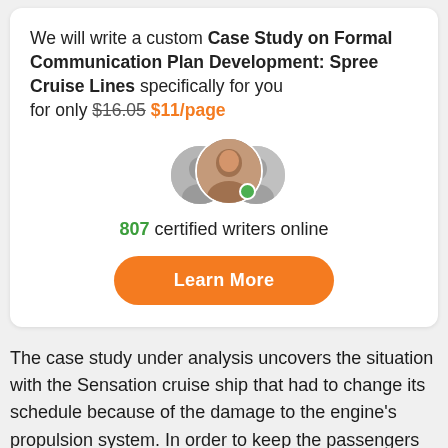We will write a custom Case Study on Formal Communication Plan Development: Spree Cruise Lines specifically for you for only $16.05 $11/page
[Figure (illustration): Three overlapping circular avatar photos of writers with a green online indicator dot]
807 certified writers online
Learn More
The case study under analysis uncovers the situation with the Sensation cruise ship that had to change its schedule because of the damage to the engine's propulsion system. In order to keep the passengers happy and loyal to the company, it is communication plan.
Check the price of your paper